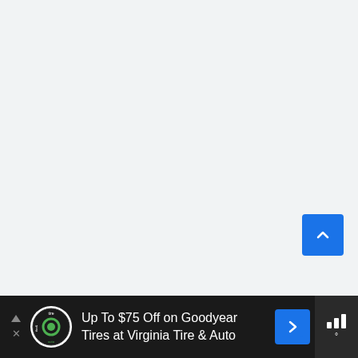[Figure (screenshot): Light gray empty main content area of a webpage with a blue scroll-to-top button in the lower right]
[Figure (infographic): Advertisement bar at the bottom: 'Up To $75 Off on Goodyear Tires at Virginia Tire & Auto' with Tire & Auto logo on left and navigation arrow icon, plus a secondary logo on the right]